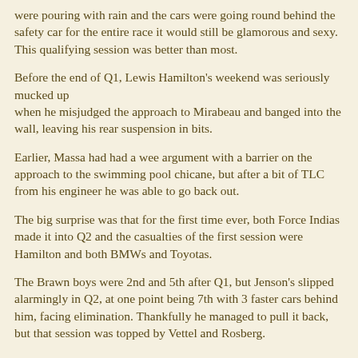were pouring with rain and the cars were going round behind the safety car for the entire race it would still be glamorous and sexy. This qualifying session was better than most.
Before the end of Q1, Lewis Hamilton's weekend was seriously mucked up when he misjudged the approach to Mirabeau and banged into the wall, leaving his rear suspension in bits.
Earlier, Massa had had a wee argument with a barrier on the approach to the swimming pool chicane, but after a bit of TLC from his engineer he was able to go back out.
The big surprise was that for the first time ever, both Force Indias made it into Q2 and the casualties of the first session were Hamilton and both BMWs and Toyotas.
The Brawn boys were 2nd and 5th after Q1, but Jenson's slipped alarmingly in Q2, at one point being 7th with 3 faster cars behind him, facing elimination. Thankfully he managed to pull it back, but that session was topped by Vettel and Rosberg.